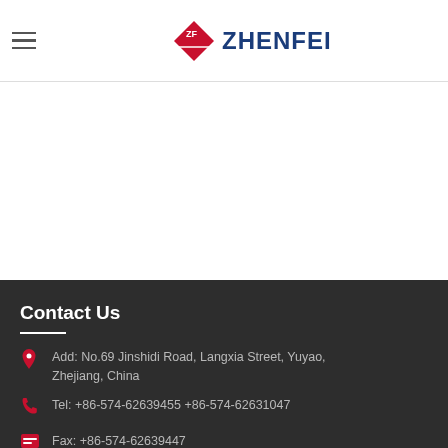ZF ZHENFEI logo header with hamburger menu
Contact Us
Add: No.69 Jinshidi Road, Langxia Street, Yuyao, Zhejiang, China
Tel: +86-574-62639455 +86-574-62631047
Fax: +86-574-62639447
E-mail: xzy3131@hotmail.com, sales@nbzhenfei.com